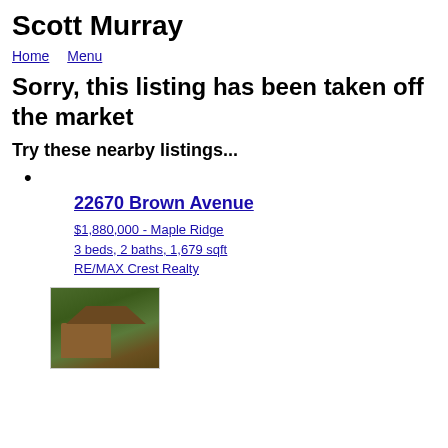Scott Murray
Home   Menu
Sorry, this listing has been taken off the market
Try these nearby listings...
22670 Brown Avenue
$1,880,000 - Maple Ridge
3 beds, 2 baths, 1,679 sqft
RE/MAX Crest Realty
[Figure (photo): Exterior photo of 22670 Brown Avenue showing trees and partial view of house]